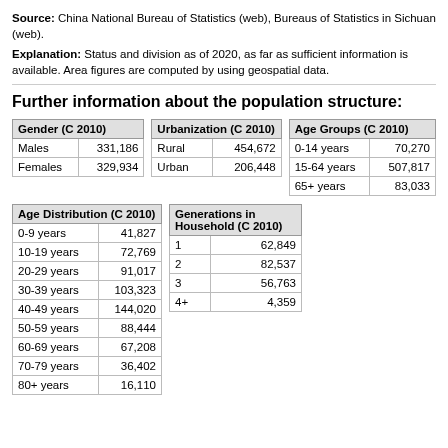Source: China National Bureau of Statistics (web), Bureaus of Statistics in Sichuan (web).
Explanation: Status and division as of 2020, as far as sufficient information is available. Area figures are computed by using geospatial data.
Further information about the population structure:
| Gender (C 2010) |  |
| --- | --- |
| Males | 331,186 |
| Females | 329,934 |
| Urbanization (C 2010) |  |
| --- | --- |
| Rural | 454,672 |
| Urban | 206,448 |
| Age Groups (C 2010) |  |
| --- | --- |
| 0-14 years | 70,270 |
| 15-64 years | 507,817 |
| 65+ years | 83,033 |
| Age Distribution (C 2010) |  |
| --- | --- |
| 0-9 years | 41,827 |
| 10-19 years | 72,769 |
| 20-29 years | 91,017 |
| 30-39 years | 103,323 |
| 40-49 years | 144,020 |
| 50-59 years | 88,444 |
| 60-69 years | 67,208 |
| 70-79 years | 36,402 |
| 80+ years | 16,110 |
| Generations in Household (C 2010) |  |
| --- | --- |
| 1 | 62,849 |
| 2 | 82,537 |
| 3 | 56,763 |
| 4+ | 4,359 |